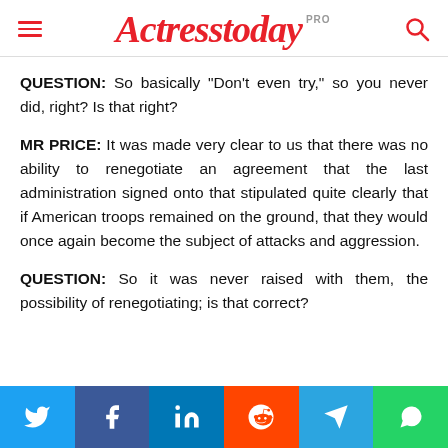Actresstoday PRO
QUESTION: So basically “Don’t even try,” so you never did, right? Is that right?
MR PRICE: It was made very clear to us that there was no ability to renegotiate an agreement that the last administration signed onto that stipulated quite clearly that if American troops remained on the ground, that they would once again become the subject of attacks and aggression.
QUESTION: So it was never raised with them, the possibility of renegotiating; is that correct?
[Figure (infographic): Social sharing buttons row: Twitter (blue), Facebook (dark blue), LinkedIn (blue), Reddit (orange-red), Telegram (light blue), WhatsApp (green)]